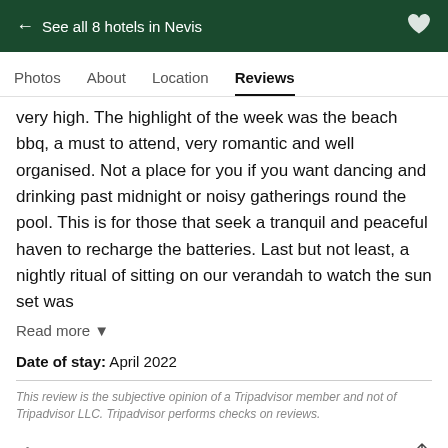← See all 8 hotels in Nevis
Photos   About   Location   Reviews
very high. The highlight of the week was the beach bbq, a must to attend, very romantic and well organised. Not a place for you if you want dancing and drinking past midnight or noisy gatherings round the pool. This is for those that seek a tranquil and peaceful haven to recharge the batteries. Last but not least, a nightly ritual of sitting on our verandah to watch the sun set was
Read more ▾
Date of stay: April 2022
This review is the subjective opinion of a Tripadvisor member and not of Tripadvisor LLC. Tripadvisor performs checks on reviews.
Helpful
RD H